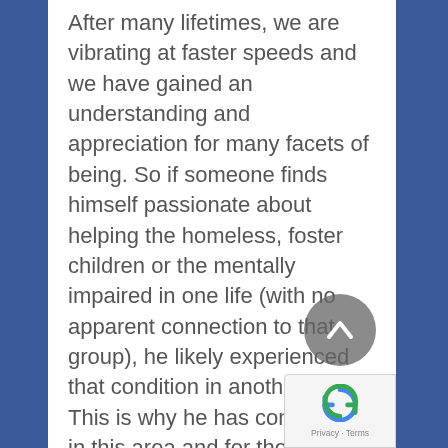After many lifetimes, we are vibrating at faster speeds and we have gained an understanding and appreciation for many facets of being. So if someone finds himself passionate about helping the homeless, foster children or the mentally impaired in one life (with no apparent connection to that group), he likely experienced that condition in another life. This is why he has compassion in this area and for these people, because on a subconscious level, he understands and appreciates the circumstances and conditions that they are enduring. This is